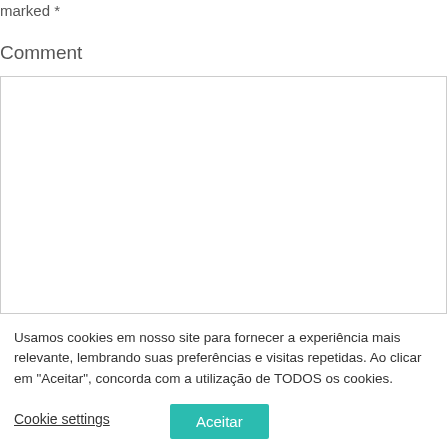marked *
Comment
[Figure (other): Comment text area input box, empty, with light gray border]
Usamos cookies em nosso site para fornecer a experiência mais relevante, lembrando suas preferências e visitas repetidas. Ao clicar em "Aceitar", concorda com a utilização de TODOS os cookies.
Cookie settings
Aceitar